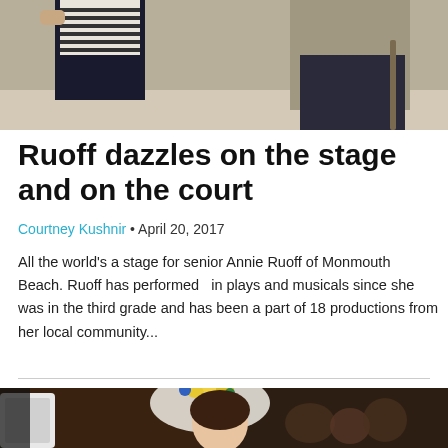[Figure (photo): Two people standing indoors, one wearing a striped shirt, photographed from the torso down]
Ruoff dazzles on the stage and on the court
Courtney Kushnir • April 20, 2017
All the world's a stage for senior Annie Ruoff of Monmouth Beach. Ruoff has performed  in plays and musicals since she was in the third grade and has been a part of 18 productions from her local community...
[Figure (photo): Young woman in costume with floral headpiece and white lace veil, at a performance or event]